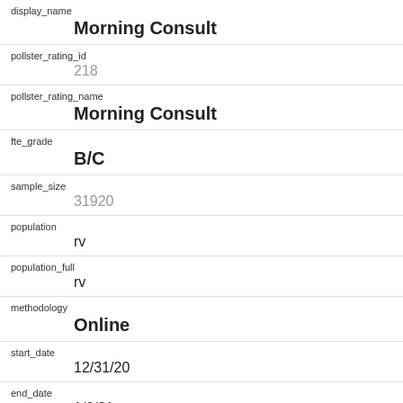| field | value |
| --- | --- |
| display_name | Morning Consult |
| pollster_rating_id | 218 |
| pollster_rating_name | Morning Consult |
| fte_grade | B/C |
| sample_size | 31920 |
| population | rv |
| population_full | rv |
| methodology | Online |
| start_date | 12/31/20 |
| end_date | 1/6/21 |